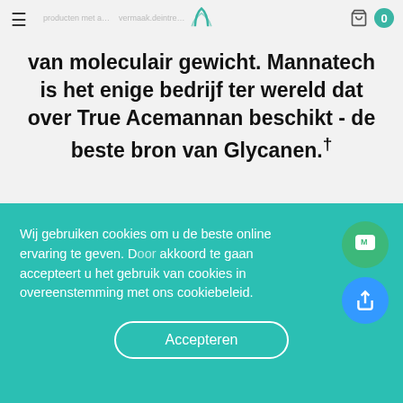producten met a... vermaak.deintre...
van moleculair gewicht. Mannatech is het enige bedrijf ter wereld dat over True Acemannan beschikt - de beste bron van Glycanen.†
[Figure (photo): Aloe vera plant in a dark pot with a circular 'TRUE' logo badge at the center, photographed from above on a light grey background.]
Wij gebruiken cookies om u de beste online ervaring te geven. Door akkoord te gaan accepteert u het gebruik van cookies in overeenstemming met ons cookiebeleid.
Accepteren